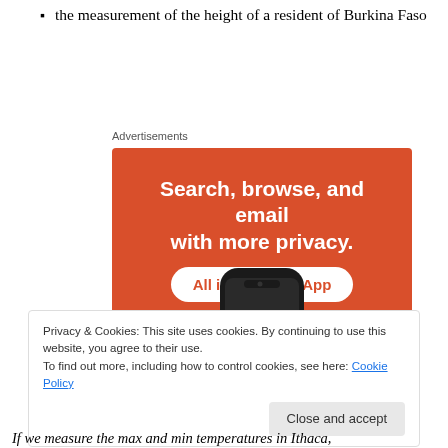the measurement of the height of a resident of Burkina Faso
[Figure (other): DuckDuckGo advertisement banner with orange background. Text reads: 'Search, browse, and email with more privacy. All in One Free App'. Shows a smartphone with DuckDuckGo duck logo.]
Advertisements
Privacy & Cookies: This site uses cookies. By continuing to use this website, you agree to their use.
To find out more, including how to control cookies, see here: Cookie Policy
Close and accept
If we measure the max and min temperatures in Ithaca,